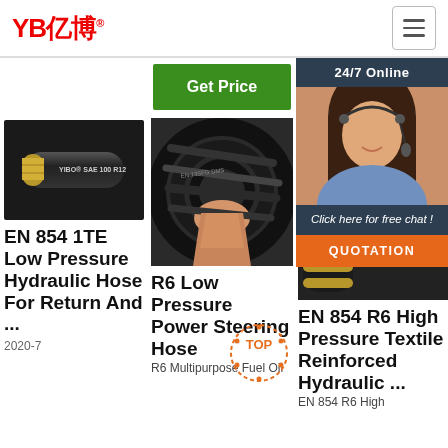[Figure (logo): YB亿博 company logo in red with registered trademark symbol]
[Figure (other): Hamburger menu icon button]
[Figure (other): Green Get Price button]
[Figure (other): 24/7 Online chat widget with agent photo, click here for free chat text, and QUOTATION button]
[Figure (photo): Black hydraulic hose with YIBO SAE 100 R12 label on end]
[Figure (photo): Hand holding black rubber hoses showing EN standard markings]
[Figure (photo): Black hydraulic hose end fitting]
EN 854 1TE Low Pressure Hydraulic Hose For Return And ...
R6 Low Pressure Power Steering Hose
R6 Multipurpose Fuel Oil
EN 854 R6 High Pressure Textile Reinforced Hydraulic ...
EN 854 R6 High
2020-7
[Figure (other): TOP circular badge/watermark in orange]